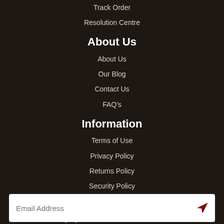Track Order
Resolution Centre
About Us
About Us
Our Blog
Contact Us
FAQ's
Information
Terms of Use
Privacy Policy
Returns Policy
Security Policy
Stay In Touch
Keep up the date with the latest news!